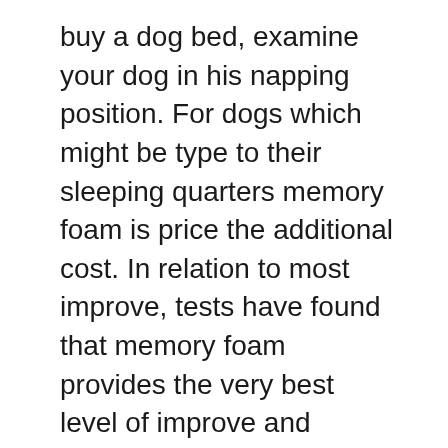buy a dog bed, examine your dog in his napping position. For dogs which might be type to their sleeping quarters memory foam is price the additional cost. In relation to most improve, tests have found that memory foam provides the very best level of improve and luxury. If your dog is a chewer and you wish to have the posh of memory foam in your dog then rest assured we supply replacement covers for accidents:) Dogs which might be arduous core ‘nesters’ prefer an opulent taste bed taste.
If your dog turns out to love to make use of a pillow for his head he would possibly like a bolster bed. A bolster bed may also be advisable for a dog that loves to lie on his aspect, so long as It is large enough. Dogs who flop down and